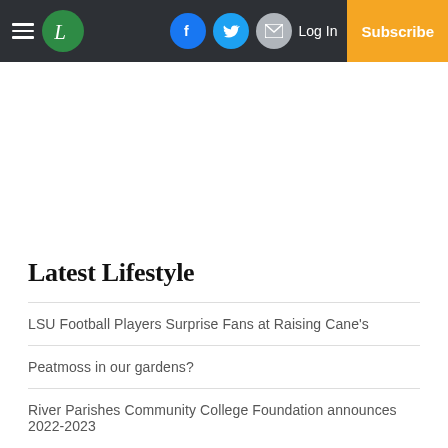L [Logo] | Facebook | Twitter | Email | Log In | Subscribe
Latest Lifestyle
LSU Football Players Surprise Fans at Raising Cane's
Peatmoss in our gardens?
River Parishes Community College Foundation announces 2022-2023